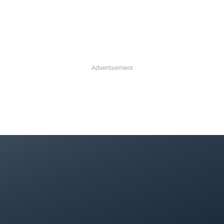Advertisement
[Figure (logo): Exhaust Notes Australia logo with red EXHAUST text, silver NOTES text, AUSTRALIA subtitle with decorative speed stripes in red and gray]
Exhaust Notes Australia is independently owned and operated.
We are your destination for the latest automotive news and